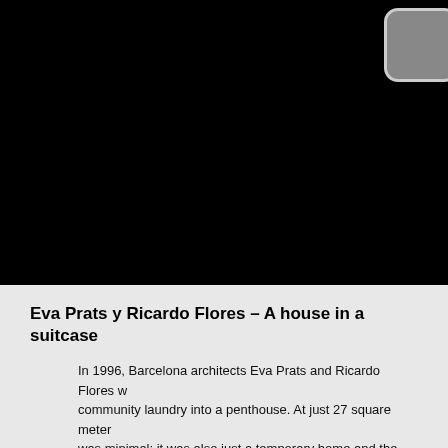[Figure (photo): Large dark/black photograph taking up the top portion of the page, with a small rounded rectangle element visible in the upper right corner]
Eva Prats y Ricardo Flores – A house in a suitcase
In 1996, Barcelona architects Eva Prats and Ricardo Flores w community laundry into a penthouse. At just 27 square meter was minimal; it was also just a temporary home and the clier maintenance-free.